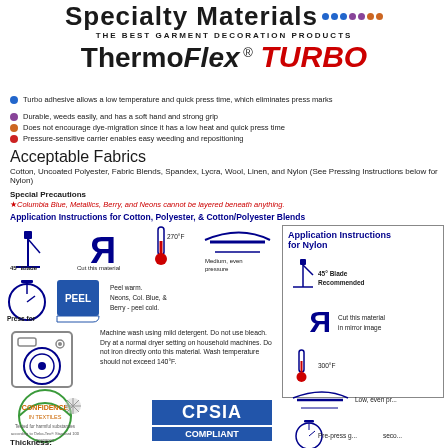Specialty Materials — THE BEST GARMENT DECORATION PRODUCTS — ThermoFlex® TURBO
Turbo adhesive allows a low temperature and quick press time, which eliminates press marks
Durable, weeds easily, and has a soft hand and strong grip
Does not encourage dye-migration since it has a low heat and quick press time
Pressure-sensitive carrier enables easy weeding and repositioning
Acceptable Fabrics
Cotton, Uncoated Polyester, Fabric Blends, Spandex, Lycra, Wool, Linen, and Nylon (See Pressing Instructions below for Nylon)
Special Precautions
★Columbia Blue, Metallics, Berry, and Neons cannot be layered beneath anything.
Application Instructions for Cotton, Polyester, & Cotton/Polyester Blends
[Figure (infographic): Application instructions icons: 45° Blade Recommended, Cut this material in mirror image (reversed R icon), 270°F thermometer, Medium even pressure roller icon]
[Figure (infographic): Press for 5 Seconds stopwatch icon, PEEL label with peel corner, Peel warm. Neons, Col. Blue, & Berry - peel cold.]
[Figure (infographic): Application Instructions for Nylon box with icons: 45° Blade Recommended, Cut in mirror image, 300°F, Low even pressure, Pre-press]
Machine wash using mild detergent. Do not use bleach. Dry at a normal dryer setting on household machines. Do not iron directly onto this material. Wash temperature should not exceed 140°F.
[Figure (logo): Oeko-Tex CONFIDENCE IN TEXTILES logo - Tested for harmful substances according to Oeko-Tex Standard 100, 00808003]
CPSIA COMPLIANT
Thickness: